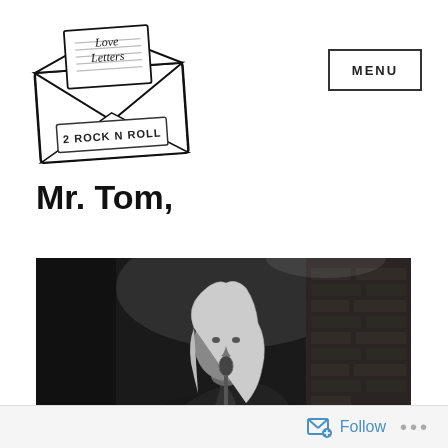[Figure (logo): Love Letters 2 Rock N Roll logo — an illustrated open envelope with a letter card inside reading 'Love Letters' in handwritten script, and '2 ROCK N ROLL' stamped across the envelope flap]
MENU
Mr. Tom,
[Figure (photo): Black and white photograph of a male musician with long blond hair leaning towards a microphone stand, wearing a dark jacket, with a brick wall visible in the background]
Follow